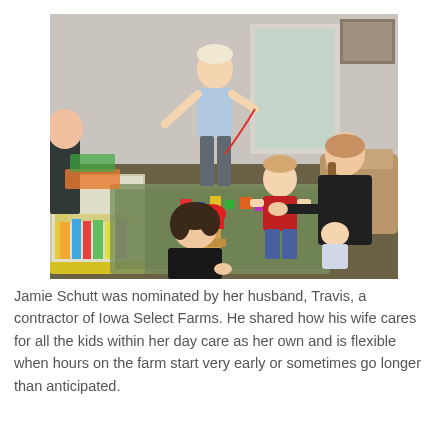[Figure (photo): Children and an adult woman playing with toys on the floor of a living room. A boy in a light blue shirt stands holding a string, a boy in a red shirt sits in the middle, a woman in black leans over them holding a baby, and a girl in black sits in the foreground. A plastic storage bin with books is visible on the left. Colorful blocks and toys are scattered on a patterned rug.]
Jamie Schutt was nominated by her husband, Travis, a contractor of Iowa Select Farms. He shared how his wife cares for all the kids within her day care as her own and is flexible when hours on the farm start very early or sometimes go longer than anticipated.